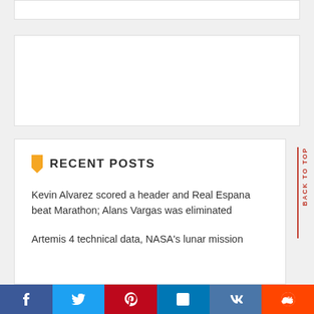RECENT POSTS
Kevin Alvarez scored a header and Real Espana beat Marathon; Alans Vargas was eliminated
Artemis 4 technical data, NASA's lunar mission
BACK TO TOP
f  t  p  in  VK  reddit